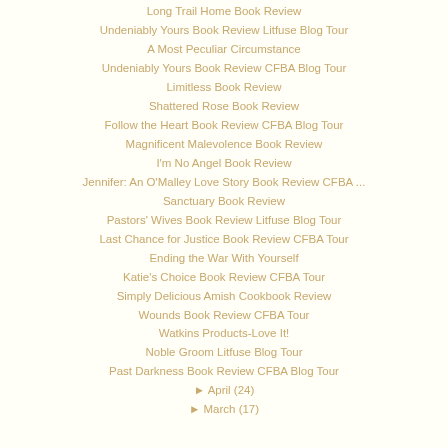Long Trail Home Book Review
Undeniably Yours Book Review Litfuse Blog Tour
A Most Peculiar Circumstance
Undeniably Yours Book Review CFBA Blog Tour
Limitless Book Review
Shattered Rose Book Review
Follow the Heart Book Review CFBA Blog Tour
Magnificent Malevolence Book Review
I'm No Angel Book Review
Jennifer: An O'Malley Love Story Book Review CFBA ...
Sanctuary Book Review
Pastors' Wives Book Review Litfuse Blog Tour
Last Chance for Justice Book Review CFBA Tour
Ending the War With Yourself
Katie's Choice Book Review CFBA Tour
Simply Delicious Amish Cookbook Review
Wounds Book Review CFBA Tour
Watkins Products-Love It!
Noble Groom Litfuse Blog Tour
Past Darkness Book Review CFBA Blog Tour
► April (24)
► March (17)